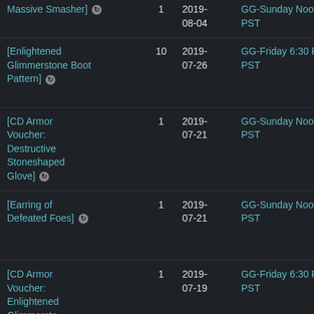| Item | Qty | Date | Event | Extra |
| --- | --- | --- | --- | --- |
| Massive Smasher] [refresh icon] | 1 | 2019-08-04 | GG-Sunday Noon, PST | GG-Su |
| [Enlightened Glimmerstone Boot Pattern] [refresh icon] | 10 | 2019-07-26 | GG-Friday 6:30 PM PST | 20+ Cit
A B Confron
(1 |
| [CD Armor Voucher: Destructive Stoneshaped Glove] [refresh icon] | 1 | 2019-07-21 | GG-Sunday Noon, PST | 20+ Cit
A B Confron
(1 |
| [Earring of Defeated Foes] [refresh icon] | 1 | 2019-07-21 | GG-Sunday Noon, PST | 20+ Cit
A B Confron
(1 |
| [CD Armor Voucher: Enlightened Glimmerstone ... | 1 | 2019-07-19 | GG-Friday 6:30 PM PST | 20+ Cit
A B Confron |